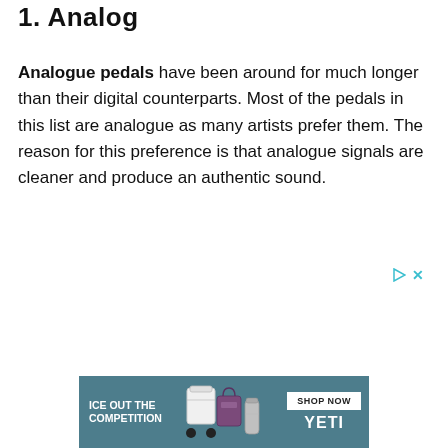1. Analog
Analogue pedals have been around for much longer than their digital counterparts. Most of the pedals in this list are analogue as many artists prefer them. The reason for this preference is that analogue signals are cleaner and produce an authentic sound.
[Figure (other): Ad controls: play triangle and X icons in teal/cyan color]
[Figure (other): YETI advertisement banner: teal/blue background with text 'ICE OUT THE COMPETITION', product images of YETI coolers and tumblers, a 'SHOP NOW' button, and 'YETI' branding in white]